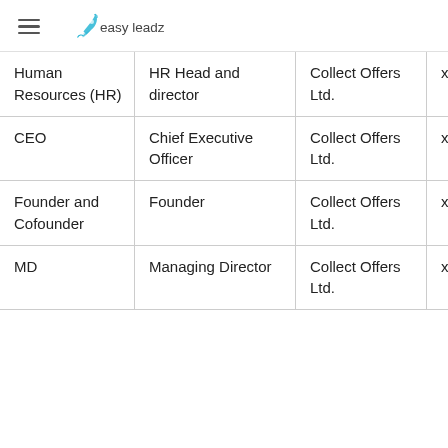easy leadz
| Role | Title | Company | Email |
| --- | --- | --- | --- |
| Human Resources (HR) | HR Head and director | Collect Offers Ltd. | xxxx@co |
| CEO | Chief Executive Officer | Collect Offers Ltd. | xxxx@co |
| Founder and Cofounder | Founder | Collect Offers Ltd. | xxxx@co |
| MD | Managing Director | Collect Offers Ltd. | xxxx@co |